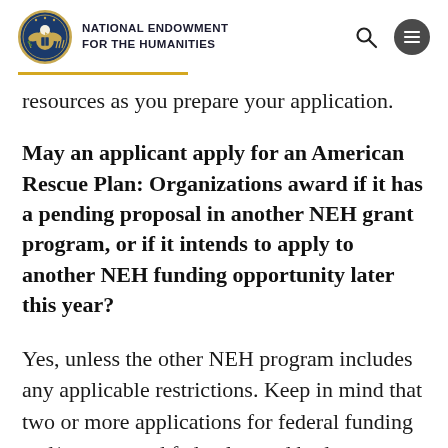NATIONAL ENDOWMENT FOR THE HUMANITIES
resources as you prepare your application.
May an applicant apply for an American Rescue Plan: Organizations award if it has a pending proposal in another NEH grant program, or if it intends to apply to another NEH funding opportunity later this year?
Yes, unless the other NEH program includes any applicable restrictions. Keep in mind that two or more applications for federal funding and/or approved federal award budgets are not